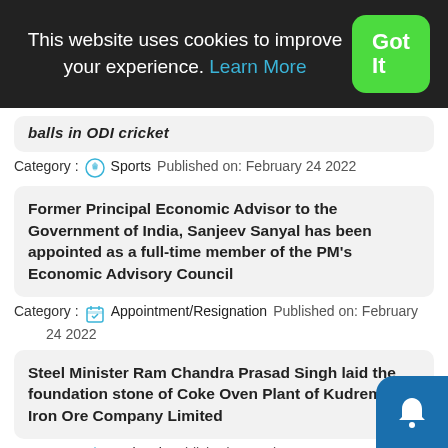This website uses cookies to improve your experience. Learn More | Got It
balls in ODI cricket
Category : Sports   Published on: February 24 2022
Former Principal Economic Advisor to the Government of India, Sanjeev Sanyal has been appointed as a full-time member of the PM's Economic Advisory Council
Category : Appointment/Resignation   Published on: February 24 2022
Steel Minister Ram Chandra Prasad Singh laid the foundation stone of Coke Oven Plant of Kudremukh Iron Ore Company Limited
Category : National   Published on: February 24 2022
Former Sri Lankan Airlines CEO Vipula Gunatilleka